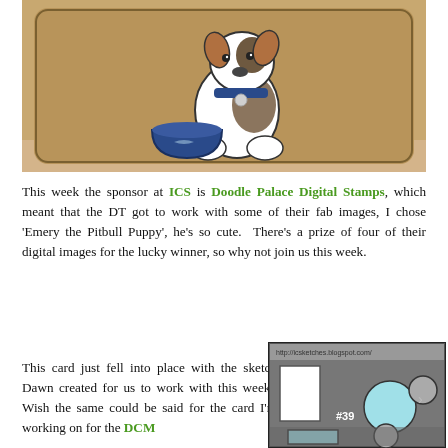[Figure (photo): Photo of a handmade craft card on a kraft/cork-like brown textured surface. The card shows an illustrated white and brown pitbull puppy dog with a blue collar and tag, standing near a blue food bowl. The scene is set against a tan/brown background with a simple ground line.]
This week the sponsor at ICS is Doodle Palace Digital Stamps, which meant that the DT got to work with some of their fab images, I chose 'Emery the Pitbull Puppy', he's so cute.  There's a prize of four of their digital images for the lucky winner, so why not join us this week.
This card just fell into place with the sketch Dawn created for us to work with this week.  Wish the same could be said for the card I'm working on for the DCM
[Figure (illustration): Sketch card layout diagram labeled #39 from http://icsketches.blogspot.com/ showing a card sketch with rectangles and circles in gray and light blue as a design template.]